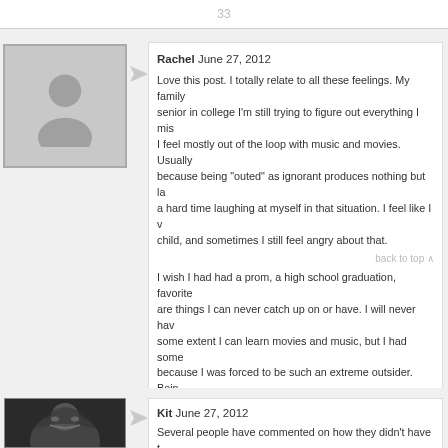33
[Figure (photo): Gray placeholder avatar silhouette for Rachel]
Rachel June 27, 2012
Love this post. I totally relate to all these feelings. My family senior in college I'm still trying to figure out everything I mis I feel mostly out of the loop with music and movies. Usually because being "outed" as ignorant produces nothing but la a hard time laughing at myself in that situation. I feel like I v child, and sometimes I still feel angry about that.
back to top ^
I wish I had had a prom, a high school graduation, favorite are things I can never catch up on or have. I will never hav some extent I can learn movies and music, but I had some because I was forced to be such an extreme outsider. Bein not "us" camp hurts after a while. I'm not talking about the s Just the typical, everyday growing up experiences. It still hu
[Figure (photo): Black and white photo of Kit smiling, wearing dark clothing]
Kit June 27, 2012
Several people have commented on how they didn't have t